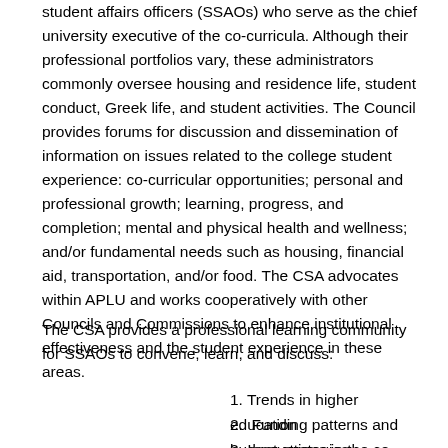student affairs officers (SSAOs) who serve as the chief university executive of the co-curricula. Although their professional portfolios vary, these administrators commonly oversee housing and residence life, student conduct, Greek life, and student activities. The Council provides forums for discussion and dissemination of information on issues related to the college student experience: co-curricular opportunities; personal and professional growth; learning, progress, and completion; mental and physical health and wellness; and/or fundamental needs such as housing, financial aid, transportation, and/or food. The CSA advocates within APLU and works cooperatively with other Councils and Commissions to enhance institutional effectiveness and the student experience in these areas.
The CSA provides a professional learning community for SSAOs to convene, learn, and discuss:
1. Trends in higher education
2.  Funding patterns and budget strategies
3. Innovations in the co-curriculum
4. Partnerships with Faculty Affairs
5. Student affairs research and publications